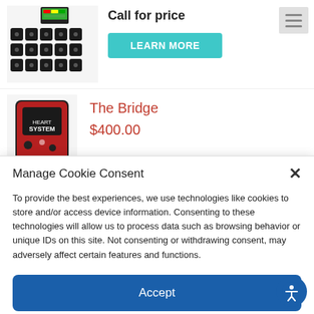[Figure (photo): Product image showing multiple black sensor/connector devices with a digital display unit]
Call for price
LEARN MORE
[Figure (photo): Red handheld device labeled 'Heart System / THE BRIDGE']
The Bridge
$400.00
Manage Cookie Consent
To provide the best experiences, we use technologies like cookies to store and/or access device information. Consenting to these technologies will allow us to process data such as browsing behavior or unique IDs on this site. Not consenting or withdrawing consent, may adversely affect certain features and functions.
Accept
Cookie Policy   Privacy Policy GDPR